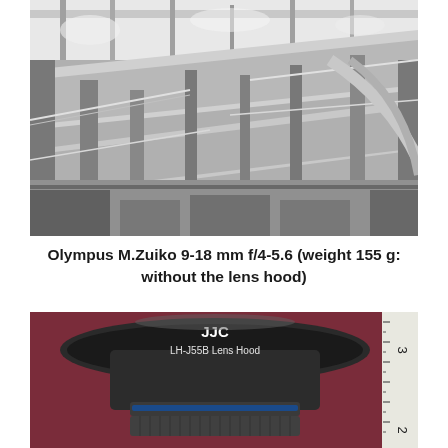[Figure (photo): Black and white HDR photograph of a modern multi-level shopping mall interior showing escalators, balconies, glass railings, and complex architectural structures viewed from below.]
Olympus M.Zuiko 9-18 mm f/4-5.6 (weight 155 g: without the lens hood)
[Figure (photo): Color photograph of a JJC LH-J55B Lens Hood for the Olympus M.Zuiko 9-18mm lens, placed on a dark reddish-purple surface next to a ruler showing measurements around 2-3 cm.]